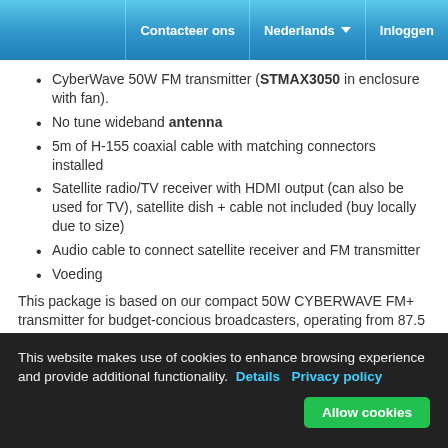Contacteer ons | Nederlands | Inloggen
CyberWave 50W FM transmitter (STMAX3050 in enclosure with fan).
No tune wideband antenna
5m of H-155 coaxial cable with matching connectors installed
Satellite radio/TV receiver with HDMI output (can also be used for TV), satellite dish + cable not included (buy locally due to size)
Audio cable to connect satellite receiver and FM transmitter
Voeding
This package is based on our compact 50W CYBERWAVE FM+ transmitter for budget-concious broadcasters, operating from 87.5 to 108 MHz. This is a small, but well built and reliable package with DSP stereo and RDS, antenna with coaxial cable, optional mains power supply or solar power supply, satellite receiver (without standard satellite dish which you can order locally). This package can also be powered from a car battery (13.8V-15V). Several power sources can be connected at the same time, transmitter will automatically switch between them to ensure 24/7
This website makes use of cookies to enhance browsing experience and provide additional functionality. Details Privacy policy
Allow cookies